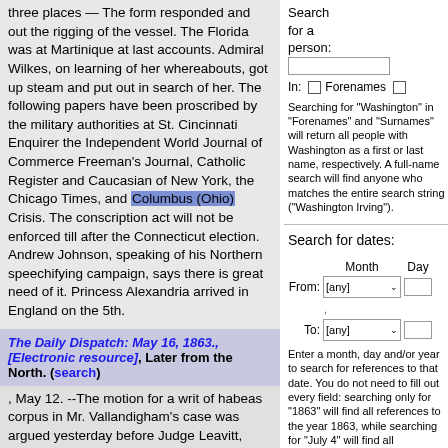three places — The form responded and out the rigging of the vessel. The Florida was at Martinique at last accounts. Admiral Wilkes, on learning of her whereabouts, got up steam and put out in search of her. The following papers have been proscribed by the military authorities at St. Cincinnati Enquirer the Independent World Journal of Commerce Freeman's Journal, Catholic Register and Caucasian of New York, the Chicago Times, and Columbus (Ohio) Crisis. The conscription act will not be enforced till after the Connecticut election. Andrew Johnson, speaking of his Northern speechifying campaign, says there is great need of it. Princess Alexandria arrived in England on the 5th.
The Daily Dispatch: May 16, 1863., [Electronic resource], Later from the North. (search)
, May 12. --The motion for a writ of habeas corpus in Mr. Vallandigham's case was argued yesterday before Judge Leavitt, United States Circuit Court, and the argument will be continued to-day. The Buell Court of Inquiry concluded its labors yesterday, and adjourned sine die. The
Search for a person:
In: Forenames
Searching for "Washington" in "Forenames" and "Surnames" will return all people with Washington as a first or last name, respectively. A full-name search will find anyone who matches the entire search string ("Washington Irving").
Search for dates:
From: [any] Month Day
To: [any]
Enter a month, day and/or year to search for references to that date. You do not need to fill out every field: searching only for "1863" will find all references to the year 1863, while searching for "July 4" will find all references to the 4th of July, regardless of year.
Enter a starting date and an ending date to find all occurrences of dates in between.